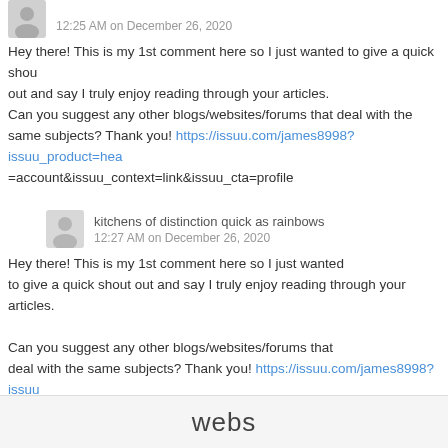kitchens of distinction quick as rainbows
12:25 AM on December 26, 2020
Hey there! This is my 1st comment here so I just wanted to give a quick shout out and say I truly enjoy reading through your articles.
Can you suggest any other blogs/websites/forums that deal with the same subjects? Thank you! https://issuu.com/james8998?issuu_product=hea =account&issuu_context=link&issuu_cta=profile
kitchens of distinction quick as rainbows
12:27 AM on December 26, 2020
Hey there! This is my 1st comment here so I just wanted to give a quick shout out and say I truly enjoy reading through your articles.

Can you suggest any other blogs/websites/forums that deal with the same subjects? Thank you! https://issuu.com/james8998?issuu =account&issuu_context=link&issuu_cta=profile
webs